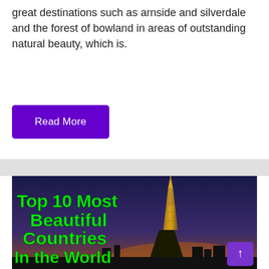great destinations such as arnside and silverdale and the forest of bowland in areas of outstanding natural beauty, which is.
Read More
[Figure (photo): Thumbnail image showing the Eiffel Tower at dusk with green bold text overlay reading 'Top 10 Most Beautiful Countries In the World']